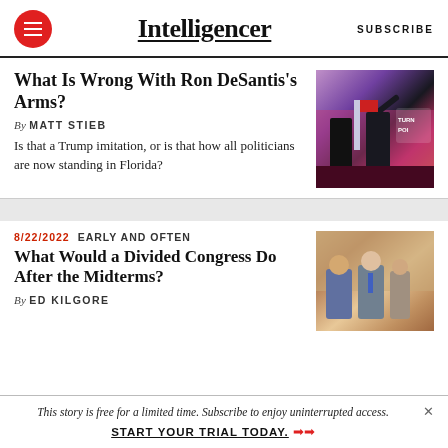Intelligencer | SUBSCRIBE
What Is Wrong With Ron DeSantis's Arms?
By MATT STIEB
Is that a Trump imitation, or is that how all politicians are now standing in Florida?
[Figure (photo): Photo of Ron DeSantis on stage at a political event with Turn Point USA branding]
What Would a Divided Congress Do After the Midterms?
8/22/2022 EARLY AND OFTEN
By ED KILGORE
[Figure (photo): Photo of Congressional leaders at a gathering]
This story is free for a limited time. Subscribe to enjoy uninterrupted access. START YOUR TRIAL TODAY.